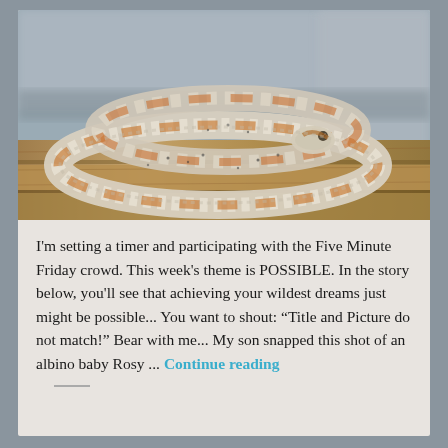[Figure (photo): Close-up photograph of a small albino baby Rosy boa snake coiled on a wooden surface. The snake has a cream/white base color with orange-brown stripe patterns and visible scales. The background is blurred wood planks.]
I'm setting a timer and participating with the Five Minute Friday crowd. This week's theme is POSSIBLE. In the story below, you'll see that achieving your wildest dreams just might be possible... You want to shout: “Title and Picture do not match!” Bear with me... My son snapped this shot of an albino baby Rosy ... Continue reading